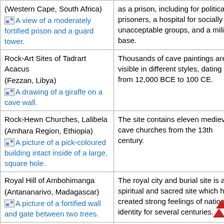| Site | Description |
| --- | --- |
| (Western Cape, South Africa)
A view of a moderately fortified prison and a guard tower. | as a prison, including for political prisoners, a hospital for socially unacceptable groups, and a military base. |
| Rock-Art Sites of Tadrart Acacus
(Fezzan, Libya)
A drawing of a giraffe on a cave wall. | Thousands of cave paintings are visible in different styles, dating from 12,000 BCE to 100 CE. |
| Rock-Hewn Churches, Lalibela
(Amhara Region, Ethiopia)
A picture of a pick-coloured building intact inside of a large, square hole. | The site contains eleven medieval cave churches from the 13th century. |
| Royal Hill of Ambohimanga
(Antananarivo, Madagascar)
A picture of a fortified wall and gate between two trees. | The royal city and burial site is a spiritual and sacred site which has created strong feelings of national identity for several centuries. |
| Royal Palace of Ab... | The city held the seat of |